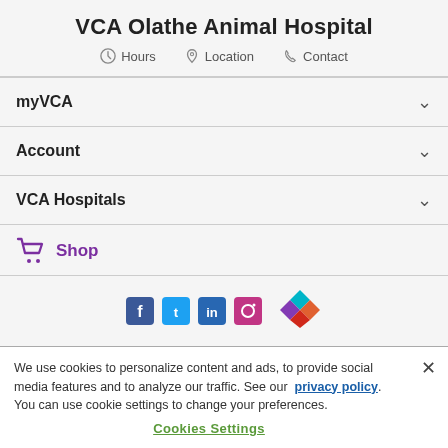VCA Olathe Animal Hospital
Hours   Location   Contact
myVCA
Account
VCA Hospitals
Shop
[Figure (logo): Colorful diamond/rhombus logo with teal, purple, orange, and red segments]
We use cookies to personalize content and ads, to provide social media features and to analyze our traffic. See our privacy policy. You can use cookie settings to change your preferences.
Cookies Settings